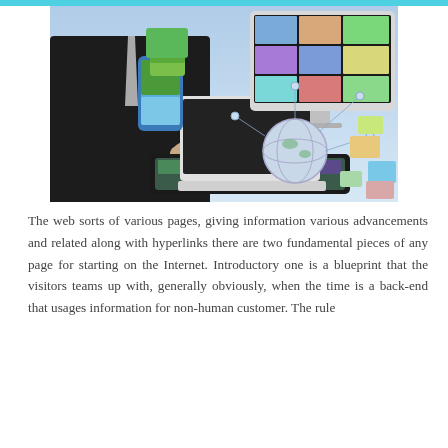[Figure (photo): A businessman in a dark suit holding a tablet device, with a laptop, globe, monitor with photo grid, and various digital icons/images floating around, representing digital technology and the internet.]
The web sorts of various pages, giving information various advancements and related along with hyperlinks there are two fundamental pieces of any page for starting on the Internet. Introductory one is a blueprint that the visitors teams up with, generally obviously, when the time is a back-end that usages information for non-human customer. The rule